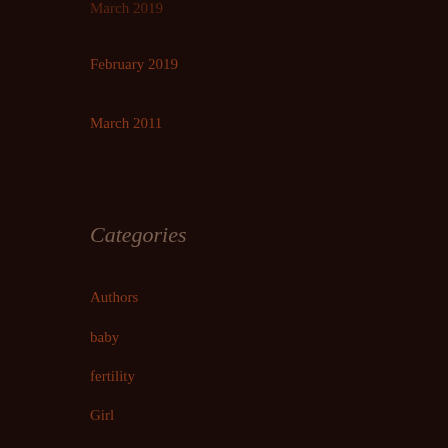March 2019
February 2019
March 2011
Categories
Authors
baby
fertility
Girl
life
mental health
parenting
parenting teens
pcos